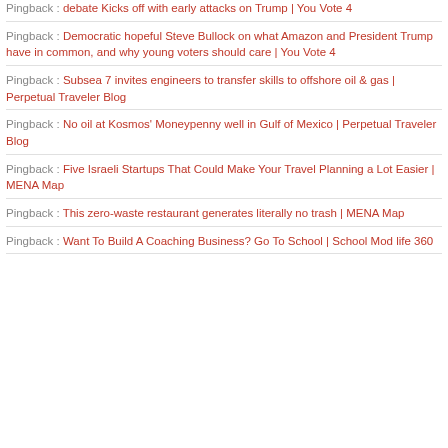Pingback : debate Kicks off with early attacks on Trump | You Vote 4
Pingback : Democratic hopeful Steve Bullock on what Amazon and President Trump have in common, and why young voters should care | You Vote 4
Pingback : Subsea 7 invites engineers to transfer skills to offshore oil & gas | Perpetual Traveler Blog
Pingback : No oil at Kosmos' Moneypenny well in Gulf of Mexico | Perpetual Traveler Blog
Pingback : Five Israeli Startups That Could Make Your Travel Planning a Lot Easier | MENA Map
Pingback : This zero-waste restaurant generates literally no trash | MENA Map
Pingback : Want To Build A Coaching Business? Go To School | School Mod life 360